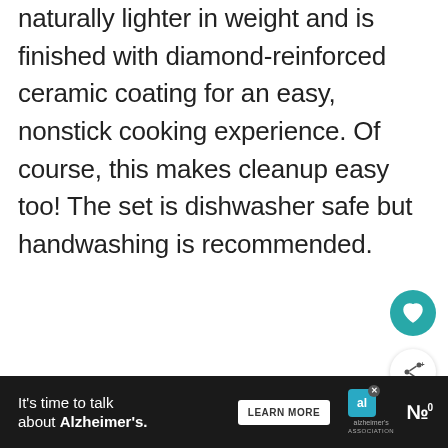naturally lighter in weight and is finished with diamond-reinforced ceramic coating for an easy, nonstick cooking experience. Of course, this makes cleanup easy too! The set is dishwasher safe but handwashing is recommended.
[Figure (other): Teal circular heart/favorite button icon]
[Figure (other): White circular share/forward button icon with shadow]
[Figure (other): What's Next card showing The Best Tea Kettles for t... with a photo of tea kettles]
[Figure (other): Advertisement banner: It's time to talk about Alzheimer's. LEARN MORE — Alzheimer's Association logo]